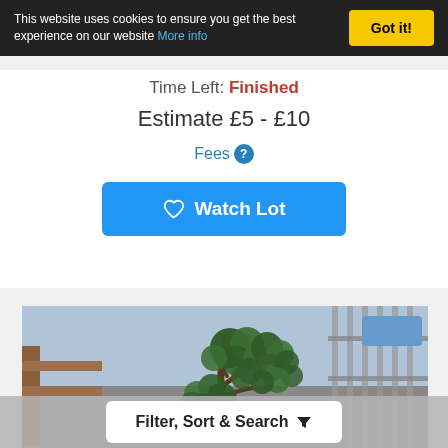This website uses cookies to ensure you get the best experience on our website More info
Got it!
Time Left: Finished
Estimate £5 - £10
Fees ?
♡ Watch Lot
[Figure (photo): A bonsai tree in a black pot, with metal railings and orange objects in the background, photographed outdoors.]
Filter, Sort & Search